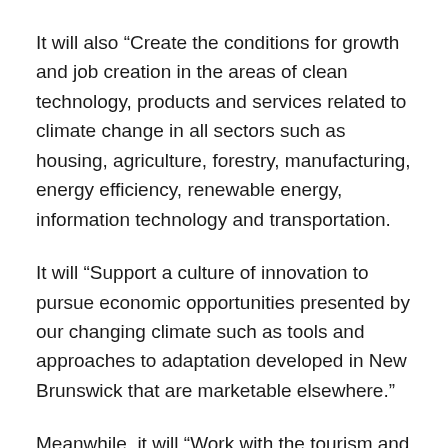It will also “Create the conditions for growth and job creation in the areas of clean technology, products and services related to climate change in all sectors such as housing, agriculture, forestry, manufacturing, energy efficiency, renewable energy, information technology and transportation.
It will “Support a culture of innovation to pursue economic opportunities presented by our changing climate such as tools and approaches to adaptation developed in New Brunswick that are marketable elsewhere.”
Meanwhile, it will “Work with the tourism and recreation sector to pursue new opportunities presented by our changing climate and to promote New Brunswick as a world class destination. . .(and) take advantage of the large financial opportunities that exist through reducing